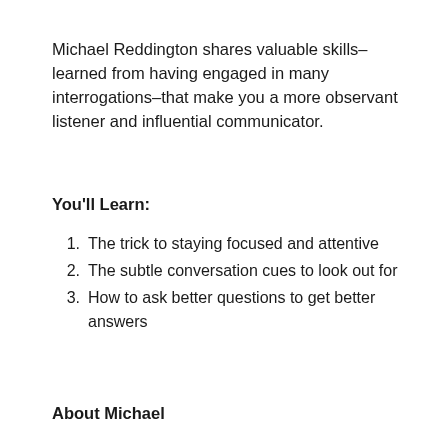Michael Reddington shares valuable skills–learned from having engaged in many interrogations–that make you a more observant listener and influential communicator.
You'll Learn:
The trick to staying focused and attentive
The subtle conversation cues to look out for
How to ask better questions to get better answers
About Michael